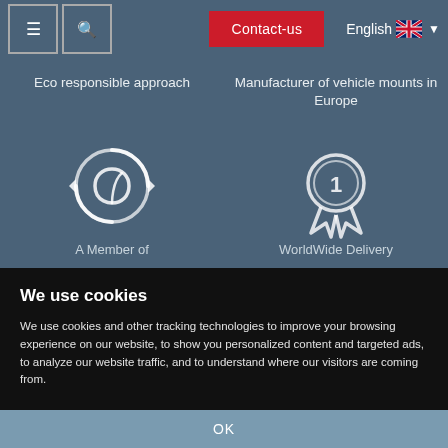≡ | 🔍 | Contact-us | English 🇬🇧 ▼
Eco responsible approach
[Figure (illustration): Circular arrows with leaf icon — eco/recycling symbol]
Manufacturer of vehicle mounts in Europe
[Figure (illustration): Number 1 medal/award badge icon]
A Member of
WorldWide Delivery
We use cookies
We use cookies and other tracking technologies to improve your browsing experience on our website, to show you personalized content and targeted ads, to analyze our website traffic, and to understand where our visitors are coming from.
OK